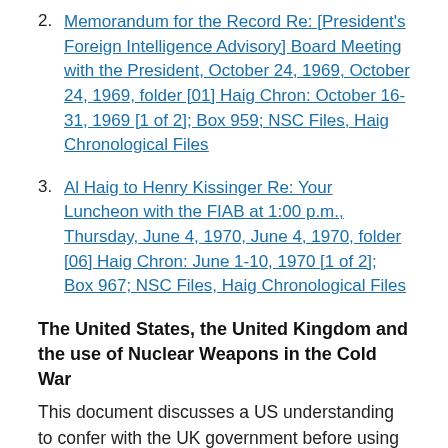2. Memorandum for the Record Re: [President's Foreign Intelligence Advisory] Board Meeting with the President, October 24, 1969, October 24, 1969, folder [01] Haig Chron: October 16-31, 1969 [1 of 2]; Box 959; NSC Files, Haig Chronological Files
3. Al Haig to Henry Kissinger Re: Your Luncheon with the FIAB at 1:00 p.m., Thursday, June 4, 1970, June 4, 1970, folder [06] Haig Chron: June 1-10, 1970 [1 of 2]; Box 967; NSC Files, Haig Chronological Files
The United States, the United Kingdom and the use of Nuclear Weapons in the Cold War
This document discusses a US understanding to confer with the UK government before using nuclear weapons anywhere in the world.